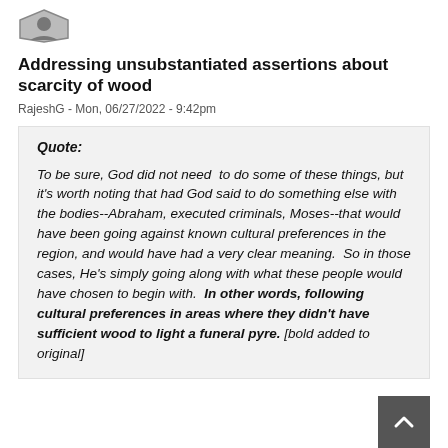[Figure (other): User avatar icon - shield/diamond shape with face]
Addressing unsubstantiated assertions about scarcity of wood
RajeshG - Mon, 06/27/2022 - 9:42pm
Quote:
To be sure, God did not need  to do some of these things, but it's worth noting that had God said to do something else with the bodies--Abraham, executed criminals, Moses--that would have been going against known cultural preferences in the region, and would have had a very clear meaning.  So in those cases, He's simply going along with what these people would have chosen to begin with.  In other words, following cultural preferences in areas where they didn't have sufficient wood to light a funeral pyre. [bold added to original]